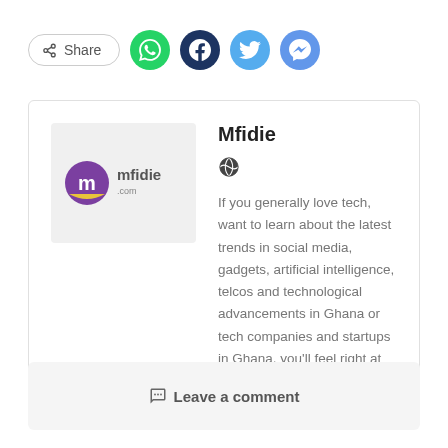[Figure (infographic): Share button with social media icons: WhatsApp (green), Facebook (dark blue), Twitter (light blue), Messenger (blue)]
[Figure (logo): Mfidie.com logo: purple circle with letter m and text 'mfidie .com' on grey background]
Mfidie
[Figure (illustration): Globe icon]
If you generally love tech, want to learn about the latest trends in social media, gadgets, artificial intelligence, telcos and technological advancements in Ghana or tech companies and startups in Ghana, you'll feel right at home here.
Leave a comment